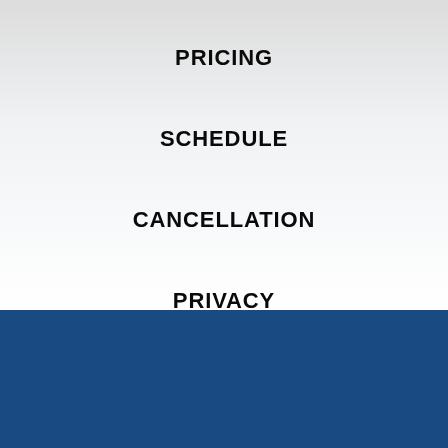PRICING
SCHEDULE
CANCELLATION
PRIVACY